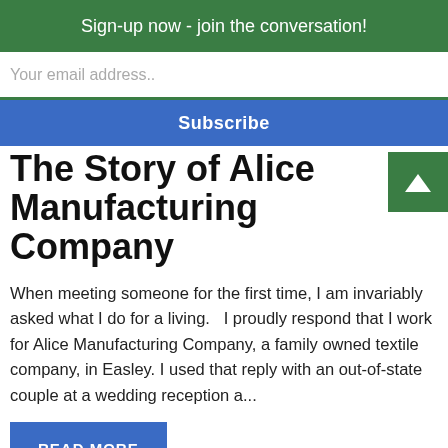Sign-up now - join the conversation!
Your email address..
Subscribe
The Story of Alice Manufacturing Company
When meeting someone for the first time, I am invariably asked what I do for a living.   I proudly respond that I work for Alice Manufacturing Company, a family owned textile company, in Easley. I used that reply with an out-of-state couple at a wedding reception a...
READ MORE